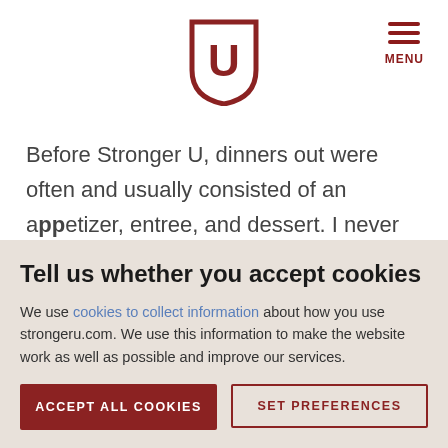[Figure (logo): Stronger U university shield logo in dark red/maroon color]
Before Stronger U, dinners out were often and usually consisted of an appetizer, entree, and dessert. I never checked nutrition labels or serving sizes. Holidays, vacations, family gatherings were all food centered. If I wanted
Tell us whether you accept cookies
We use cookies to collect information about how you use strongeru.com. We use this information to make the website work as well as possible and improve our services.
ACCEPT ALL COOKIES
SET PREFERENCES